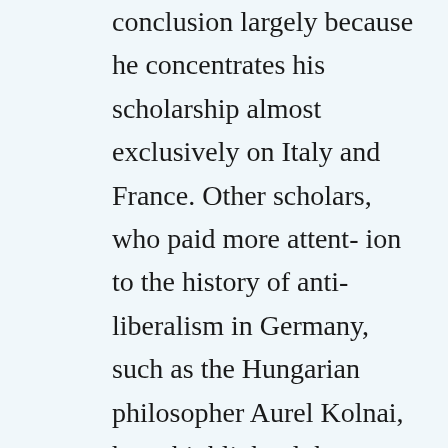conclusion largely because he concentrates his scholarship almost exclusively on Italy and France. Other scholars, who paid more attent- ion to the history of anti-liberalism in Germany, such as the Hungarian philosopher Aurel Kolnai, have highlighted the specifically racist aspects of anti-Semitism, which Battini tends to ignore. If Battini is to be believed – and he quotes Hannah Arendt's theories to corroborate his own – modern anti-Semitism was social and political, rather than religious or racial. Without universal rights and Jewish